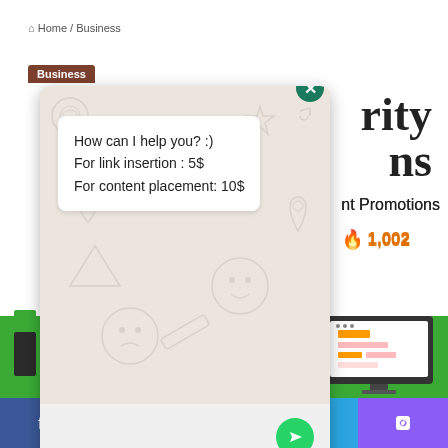🏠 Home / Business
Business
rity
ns
nt Promotions
🔥 1,002
[Figure (screenshot): WhatsApp chat overlay window with beige/tan patterned background showing emoji icons. Contains a white message bubble with text: 'How can I help you? :) For link insertion : 5$ For content placement: 10$'. Has a dark teal close (X) button in top right corner and a green send button in bottom right. Below the chat window is a social media bar with Facebook (blue), Twitter (light blue), WhatsApp (green), Telegram (blue), and phone (purple) icons.]